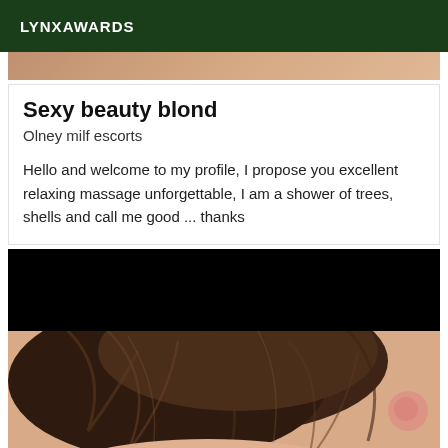LYNXAWARDS
[Figure (photo): Top portion of a person photo, cropped, showing skin tones]
Sexy beauty blond
Olney milf escorts
Hello and welcome to my profile, I propose you excellent relaxing massage unforgettable, I am a shower of trees, shells and call me good ... thanks
[Figure (photo): Photo of a person with dark brown hair, top portion blacked out, lower portion shows top of head and hair]